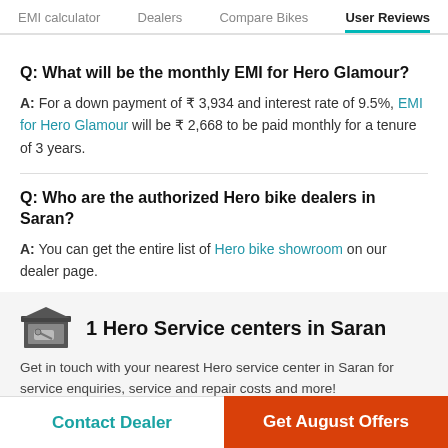EMI calculator  Dealers  Compare Bikes  User Reviews
Q: What will be the monthly EMI for Hero Glamour?
A: For a down payment of ₹ 3,934 and interest rate of 9.5%, EMI for Hero Glamour will be ₹ 2,668 to be paid monthly for a tenure of 3 years.
Q: Who are the authorized Hero bike dealers in Saran?
A: You can get the entire list of Hero bike showroom on our dealer page.
1 Hero Service centers in Saran
Get in touch with your nearest Hero service center in Saran for service enquiries, service and repair costs and more!
Contact Dealer
Get August Offers